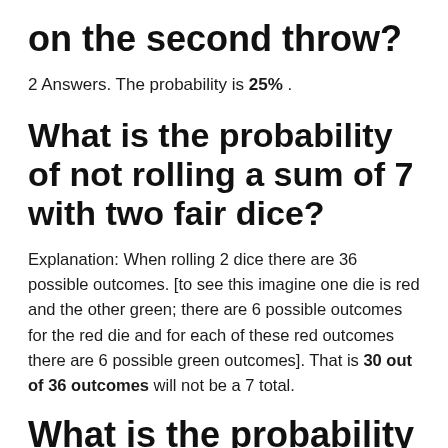on the second throw?
2 Answers. The probability is 25% .
What is the probability of not rolling a sum of 7 with two fair dice?
Explanation: When rolling 2 dice there are 36 possible outcomes. [to see this imagine one die is red and the other green; there are 6 possible outcomes for the red die and for each of these red outcomes there are 6 possible green outcomes]. That is 30 out of 36 outcomes will not be a 7 total.
What is the probability of